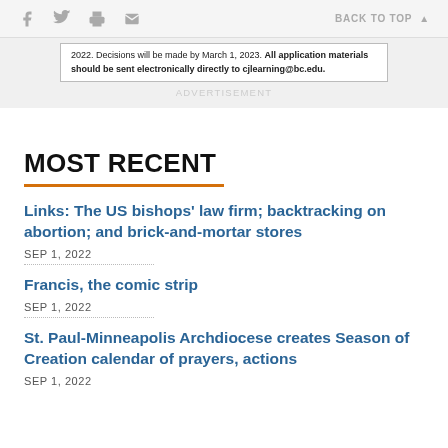Social icons: Facebook, Twitter, Print, Email | BACK TO TOP
2022. Decisions will be made by March 1, 2023. All application materials should be sent electronically directly to cjlearning@bc.edu.
ADVERTISEMENT
MOST RECENT
Links: The US bishops' law firm; backtracking on abortion; and brick-and-mortar stores — SEP 1, 2022
Francis, the comic strip — SEP 1, 2022
St. Paul-Minneapolis Archdiocese creates Season of Creation calendar of prayers, actions — SEP 1, 2022